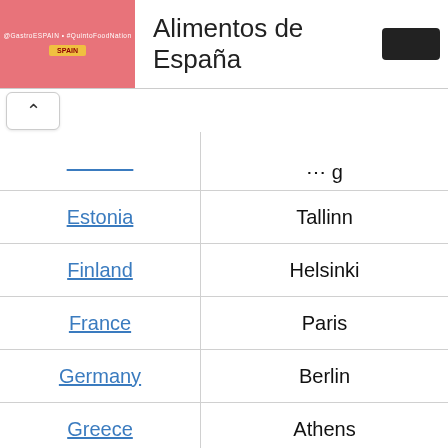Alimentos de España
| Country | Capital |
| --- | --- |
| Estonia | Tallinn |
| Finland | Helsinki |
| France | Paris |
| Germany | Berlin |
| Greece | Athens |
| Hungary | Budapest |
| Ireland | Dublin |
| Italy | Rome |
| Latvia | Riga |